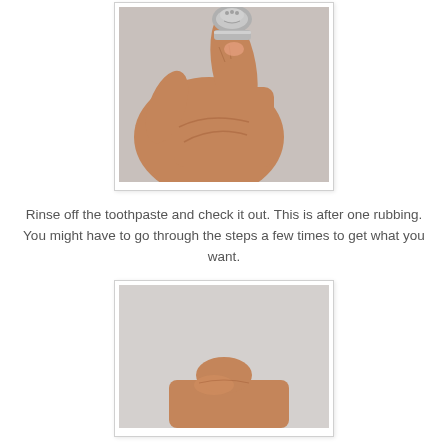[Figure (photo): Close-up photo of a hand holding a small ornate silver spoon ring between fingers, against a light grey background. The ring has decorative floral engravings on the top.]
Rinse off the toothpaste and check it out. This is after one rubbing. You might have to go through the steps a few times to get what you want.
[Figure (photo): Close-up photo of a hand/finger against a light grey background, partially cropped at the bottom of the page, appearing to show a ring or jewelry item being held.]